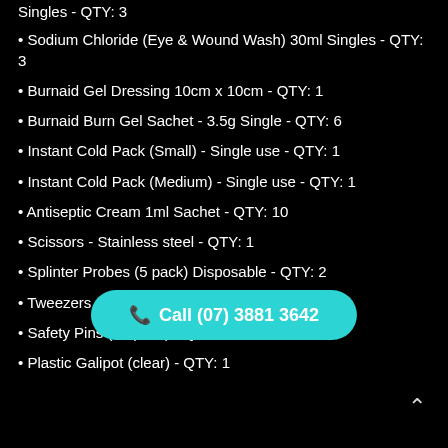Chloride & Saline (Wound Wash only) 30ml Singles - QTY: 3
Sodium Chloride (Eye & Wound Wash) 30ml Singles - QTY: 3
Burnaid Gel Dressing 10cm x 10cm - QTY: 1
Burnaid Burn Gel Sachet - 3.5g Single - QTY: 6
Instant Cold Pack (Small) - Single use - QTY: 1
Instant Cold Pack (Medium) - Single use - QTY: 1
Antiseptic Cream 1ml Sachet - QTY: 10
Scissors - Stainless steel - QTY: 1
Splinter Probes (5 pack) Disposable - QTY: 2
Tweezers - Sta...
Safety Pins (12 pack) - QTY: 2
Plastic Galipot (clear) - QTY: 1